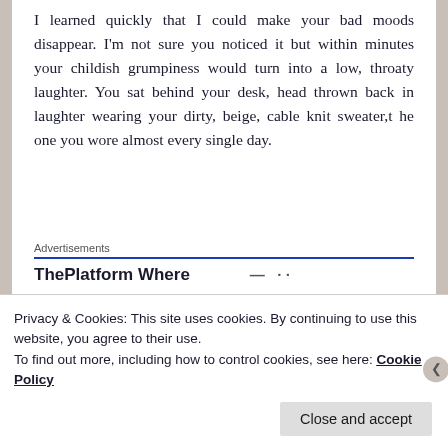I learned quickly that I could make your bad moods disappear. I'm not sure you noticed it but within minutes your childish grumpiness would turn into a low, throaty laughter. You sat behind your desk, head thrown back in laughter wearing your dirty, beige, cable knit sweater,t he one you wore almost every single day.
[Figure (screenshot): Advertisement banner reading 'Advertisements' with blue rule and 'ThePlatform Where' text followed by partially visible text]
[Figure (photo): Partially visible photo with warm brown/tan tones, appears to be a food or nature image]
Privacy & Cookies: This site uses cookies. By continuing to use this website, you agree to their use.
To find out more, including how to control cookies, see here: Cookie Policy